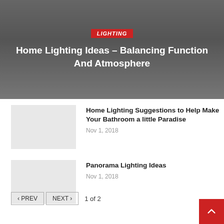LIGHTING
Home Lighting Ideas – Balancing Function And Atmosphere
[Figure (photo): Thumbnail placeholder image for bathroom lighting article]
Home Lighting Suggestions to Help Make Your Bathroom a little Paradise
Nov 1, 2018
[Figure (photo): Thumbnail placeholder image for panorama lighting article]
Panorama Lighting Ideas
Nov 1, 2018
[Figure (photo): Thumbnail placeholder image for outside lighting article]
Outside Lighting Suggestions to Add Class and elegance for your Garden
Oct 1, 2018
‹ PREV   NEXT ›   1 of 2